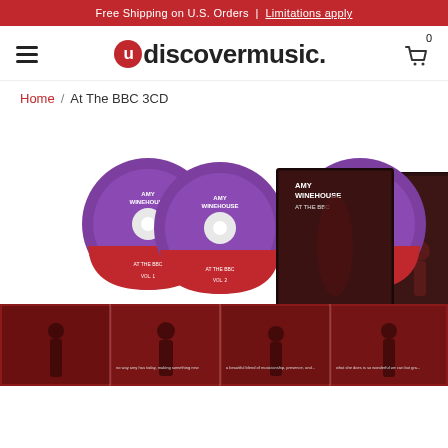Free Shipping on U.S. Orders | Limitations apply
[Figure (logo): uDiscoverMusic logo with red circle U and bold text]
Home / At The BBC 3CD
[Figure (photo): Amy Winehouse At The BBC 3CD product image showing three CDs with red/purple label design, CD case with Amy Winehouse photo in dark red tones, and a panoramic booklet strip with red-tinted Amy Winehouse photos]